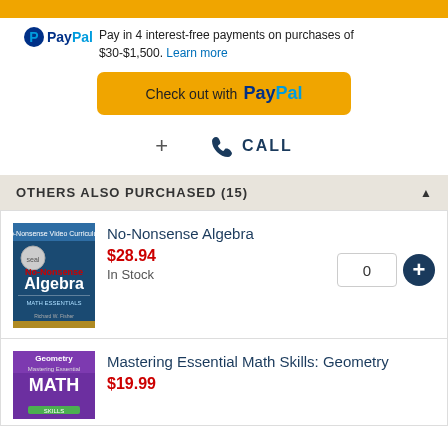[Figure (screenshot): Yellow top bar (PayPal/checkout UI element)]
PayPal Pay in 4 interest-free payments on purchases of $30-$1,500. Learn more
[Figure (screenshot): Check out with PayPal button (gold/yellow background)]
+ CALL
OTHERS ALSO PURCHASED (15)
[Figure (photo): No-Nonsense Algebra book cover]
No-Nonsense Algebra
$28.94
In Stock
[Figure (photo): Mastering Essential Math Skills: Geometry book cover]
Mastering Essential Math Skills: Geometry